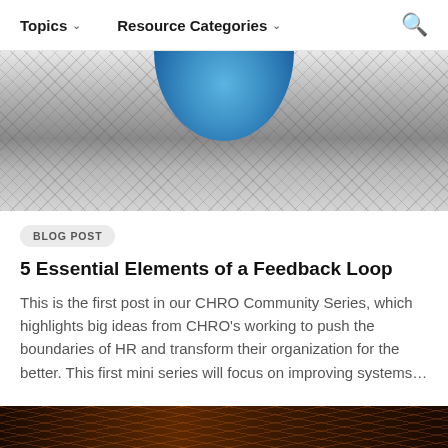Topics ˅   Resource Categories ˅   🔍
[Figure (photo): Architectural photo looking up through a curved mesh or lattice structure with a circular blue sky visible at the center top]
BLOG POST
5 Essential Elements of a Feedback Loop
This is the first post in our CHRO Community Series, which highlights big ideas from CHRO's working to push the boundaries of HR and transform their organization for the better. This first mini series will focus on improving systems…
[Figure (photo): Partial view of a dark reddish-orange artistic or nature photo at the bottom of the page]